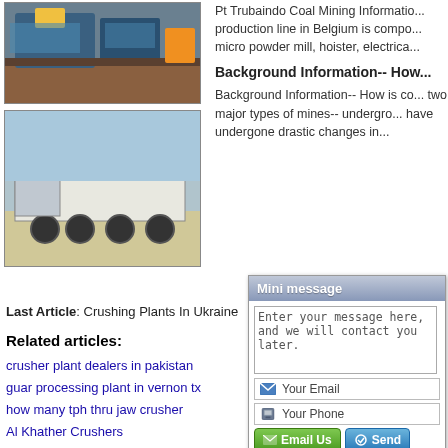[Figure (photo): Aerial or close-up photo of a stone crushing plant facility with blue machinery and gravel]
Pt Trubaindo Coal Mining Information... production line in Belgium is composed of... micro powder mill, hoister, electrica...
[Figure (photo): Photo of a large mobile crusher machine on a heavy transport vehicle/truck]
Background Information-- How...
Background Information-- How is co... two major types of mines-- undergro... have undergone drastic changes in...
Last Article: Crushing Plants In Ukraine   Ne...
Related articles:
crusher plant dealers in pakistan
guar processing plant in vernon tx
how many tph thru jaw crusher
Al Khather Crushers
sales crusher capacity
jaw crusher 0.5 t 1ton per hour
[Figure (screenshot): Mini message widget with text area, email field, phone field, and Email Us / Send buttons]